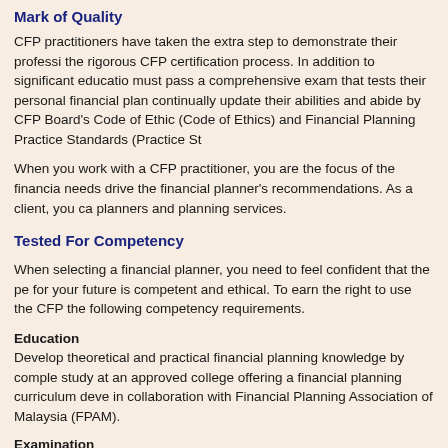Mark of Quality
CFP practitioners have taken the extra step to demonstrate their professionalism through the rigorous CFP certification process. In addition to significant education requirements, they must pass a comprehensive exam that tests their personal financial planning knowledge and continually update their abilities and abide by CFP Board's Code of Ethics and Professional Responsibility (Code of Ethics) and Financial Planning Practice Standards (Practice Standards).
When you work with a CFP practitioner, you are the focus of the financial planning process. Your needs drive the financial planner's recommendations. As a client, you can choose from a variety of planners and planning services.
Tested For Competency
When selecting a financial planner, you need to feel confident that the person who is planning for your future is competent and ethical. To earn the right to use the CFP marks, individuals must fulfill the following competency requirements.
Education
Develop theoretical and practical financial planning knowledge by completing a course of study at an approved college offering a financial planning curriculum developed by CFP Board in collaboration with Financial Planning Association of Malaysia (FPAM).
Examination
Pass a comprehensive CFP Certification Examination that tests their ability to apply financial knowledge in an integrated format. Based on regularly updated research of financial planning practices, Board's exam covers the financial planning process, tax planning, employee benefits planning, estate planning, investment management and insurance.